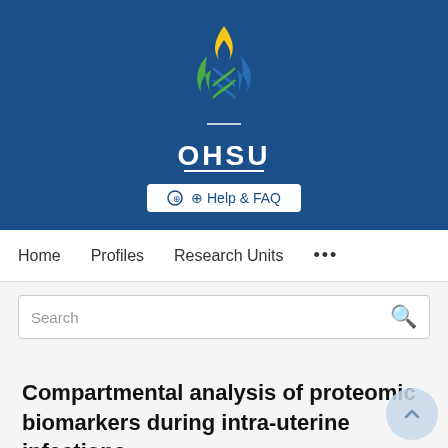[Figure (logo): OHSU (Oregon Health & Science University) logo with DNA helix and flame design in blue, green, and yellow, with white OHSU text below on blue background]
Help & FAQ
Home   Profiles   Research Units   ...
Search
Compartmental analysis of proteomic biomarkers during intra-uterine infections